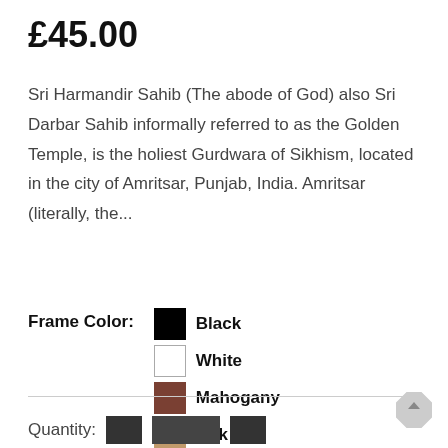£45.00
Sri Harmandir Sahib (The abode of God) also Sri Darbar Sahib informally referred to as the Golden Temple, is the holiest Gurdwara of Sikhism, located in the city of Amritsar, Punjab, India. Amritsar (literally, the...
Frame Color: Black, White, Mahogany, Oak, Gold, Silver
Quantity: